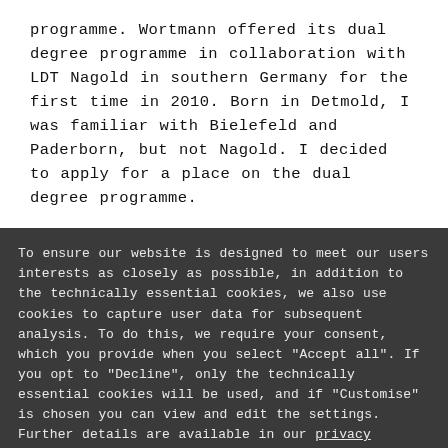programme. Wortmann offered its dual degree programme in collaboration with LDT Nagold in southern Germany for the first time in 2010. Born in Detmold, I was familiar with Bielefeld and Paderborn, but not Nagold. I decided to apply for a place on the dual degree programme.
To ensure our website is designed to meet our users interests as closely as possible, in addition to the technically essential cookies, we also use cookies to capture user data for subsequent analysis. To do this, we require your consent, which you provide when you select "Accept all". If you opt to "Decline", only the technically essential cookies will be used, and if "Customise" is chosen you can view and edit the settings. Further details are available in our privacy statement.